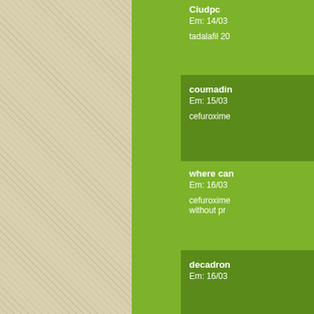[Figure (screenshot): Medical/pharmacy app interface showing a list of medication cards on a green background with diagonal hatched beige sidebar]
Ciudpc
Em: 14/03

tadalafil 20
coumadin
Em: 15/03

cefuroxime
where can
Em: 16/03

cefuroxime
without pr
decadron
Em: 16/03